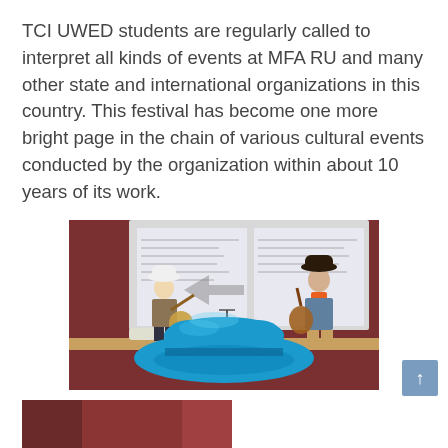TCI UWED students are regularly called to interpret all kinds of events at MFA RU and many other state and international organizations in this country. This festival has become one more bright page in the chain of various cultural events conducted by the organization within about 10 years of its work.
[Figure (photo): Two performers on a stage playing banjos, wearing cowboy hats. A large blue cowboy hat is in the foreground. A projection screen showing a presentation is in the background. Stage has drum kit and microphone stands.]
[Figure (photo): Partial view of a room with reddish-brown wall, partially cropped at bottom of page.]